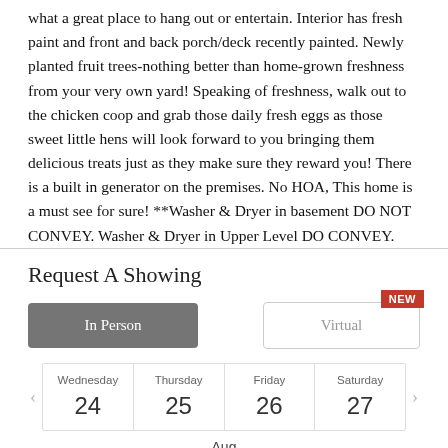what a great place to hang out or entertain. Interior has fresh paint and front and back porch/deck recently painted. Newly planted fruit trees-nothing better than home-grown freshness from your very own yard! Speaking of freshness, walk out to the chicken coop and grab those daily fresh eggs as those sweet little hens will look forward to you bringing them delicious treats just as they make sure they reward you! There is a built in generator on the premises. No HOA, This home is a must see for sure! **Washer & Dryer in basement DO NOT CONVEY. Washer & Dryer in Upper Level DO CONVEY.
Request A Showing
| Wednesday | Thursday | Friday | Saturday |
| --- | --- | --- | --- |
| 24 | 25 | 26 | 27 |